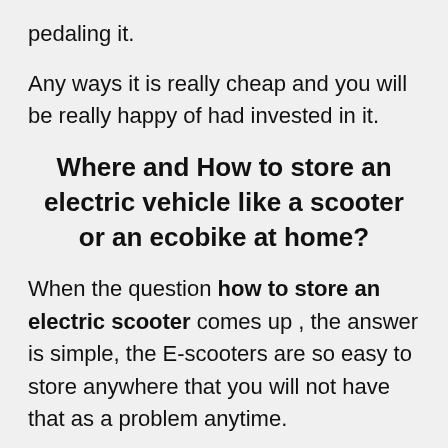pedaling it.
Any ways it is really cheap and you will be really happy of had invested in it.
Where and How to store an electric vehicle like a scooter or an ecobike at home?
When the question how to store an electric scooter comes up , the answer is simple, the E-scooters are so easy to store anywhere that you will not have that as a problem anytime.
They can be folded and put under the bed, in